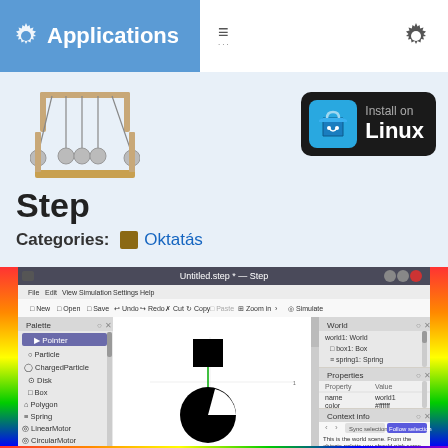KDE Applications
[Figure (screenshot): Newton's Cradle icon for Step physics simulator]
Step
Categories: Oktatás
[Figure (screenshot): Screenshot of Step physics simulation application showing palette panel on left with options including Pointer, Particle, ChargedParticle, Disk, Box, Polygon, Spring, LinearMotor, CircularMotor, Gas, SoftBody; main canvas showing a black box connected by green spring to a large black circle; World panel on right showing world1:World, box1:Box, spring1:Spring; Properties panel showing Property/Value with name=world1, color=#ffffff; Context info panel with Sync selection and Follow selection buttons and text 'This is the world scene. From the objects palette you should pick some items and put them on the canvas'; Undo history panel at bottom showing Create box1]